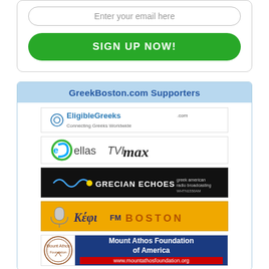Enter your email here
SIGN UP NOW!
GreekBoston.com Supporters
[Figure (logo): EligibleGreeks.com - Connecting Greeks Worldwide logo]
[Figure (logo): ellasTVI max logo]
[Figure (logo): GRECIAN ECHOES - greek american radio broadcasting WHTN1550AM logo]
[Figure (logo): Κέφι FM BOSTON logo]
[Figure (logo): Mount Athos Foundation of America - www.mountathosfoundation.org logo]